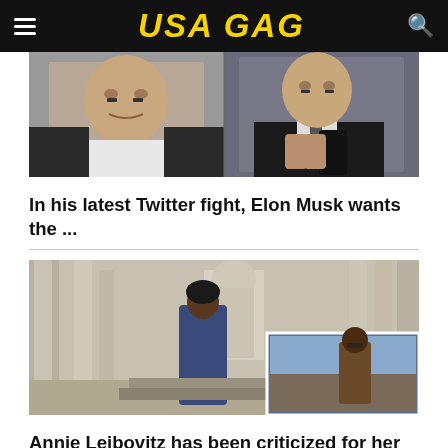USA GAG
[Figure (photo): Two side-by-side photos of Elon Musk: left shows him in a white shirt looking stern, right shows him holding a black phone while wearing a dark suit with tie]
In his latest Twitter fight, Elon Musk wants the ...
[Figure (photo): Photo of a woman in a long blue coat standing between large columns at what appears to be the Lincoln Memorial, with an inset photo in the lower right corner showing another view of the same woman in a brown coat]
Annie Leibovitz has been criticized for her …